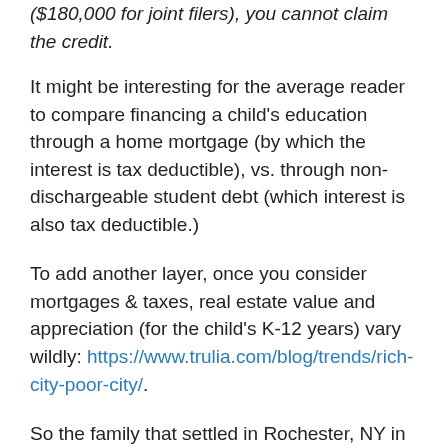($180,000 for joint filers), you cannot claim the credit.
It might be interesting for the average reader to compare financing a child's education through a home mortgage (by which the interest is tax deductible), vs. through non-dischargeable student debt (which interest is also tax deductible.)
To add another layer, once you consider mortgages & taxes, real estate value and appreciation (for the child's K-12 years) vary wildly: https://www.trulia.com/blog/trends/rich-city-poor-city/.
So the family that settled in Rochester, NY in